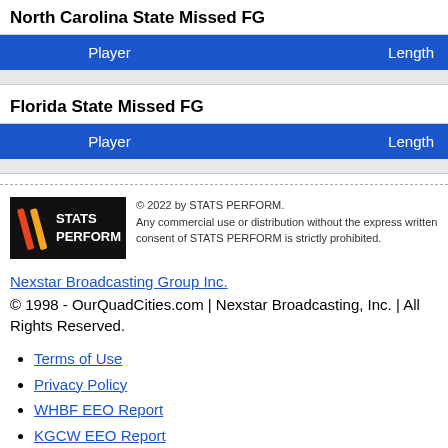North Carolina State Missed FG
| Player | Length |
| --- | --- |
Florida State Missed FG
| Player | Length |
| --- | --- |
[Figure (logo): STATS PERFORM logo on black background]
© 2022 by STATS PERFORM. Any commercial use or distribution without the express written consent of STATS PERFORM is strictly prohibited.
Nexstar Broadcasting Group Inc.
© 1998 - OurQuadCities.com | Nexstar Broadcasting, Inc. | All Rights Reserved.
Terms of Use
Privacy Policy
WHBF EEO Report
KGCW EEO Report
KLJB EEO Report